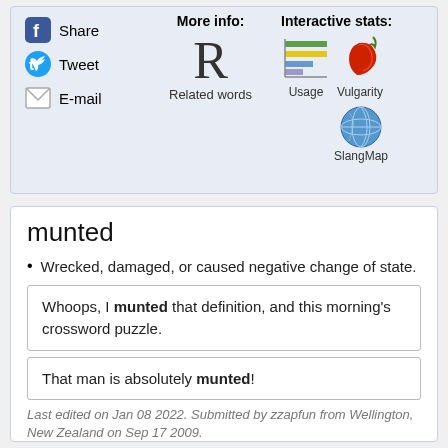[Figure (infographic): Share buttons panel with Facebook Share, Tweet, E-mail options, More info section with Related words (R icon), and Interactive stats with Usage (bar chart icon), Vulgarity (chili icon), and SlangMap (globe icon)]
munted
Wrecked, damaged, or caused negative change of state.
Whoops, I munted that definition, and this morning's crossword puzzle.
That man is absolutely munted!
Last edited on Jan 08 2022. Submitted by zzapfun from Wellington, New Zealand on Sep 17 2009.